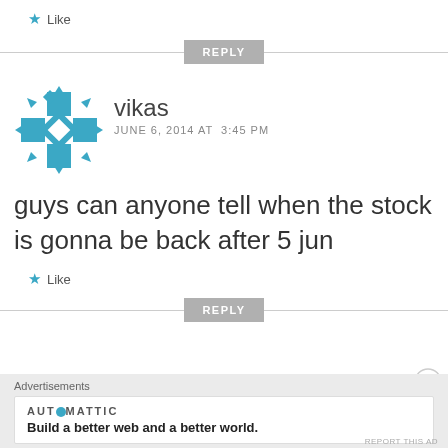Like
REPLY
[Figure (logo): Teal/cyan geometric puzzle-piece style avatar icon for user 'vikas']
vikas
JUNE 6, 2014 AT  3:45 PM
guys can anyone tell when the stock is gonna be back after 5 jun
Like
REPLY
Advertisements
[Figure (logo): Automattic logo with circular O and tagline: Build a better web and a better world.]
Build a better web and a better world.